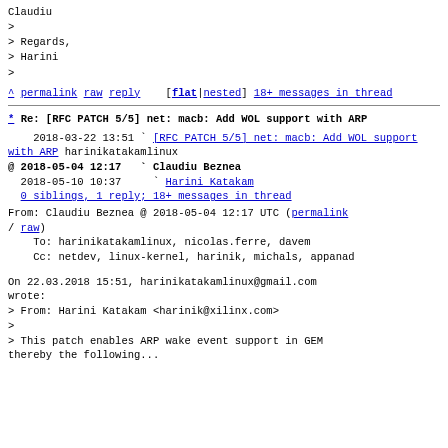Claudiu
>
> Regards,
> Harini
>
^ permalink raw reply    [flat|nested] 18+ messages in thread
* Re: [RFC PATCH 5/5] net: macb: Add WOL support with ARP
2018-03-22 13:51 ` [RFC PATCH 5/5] net: macb: Add WOL support with ARP harinikatakamlinux
@ 2018-05-04 12:17   ` Claudiu Beznea
  2018-05-10 10:37     ` Harini Katakam
  0 siblings, 1 reply; 18+ messages in thread
From: Claudiu Beznea @ 2018-05-04 12:17 UTC (permalink / raw)
To: harinikatakamlinux, nicolas.ferre, davem
Cc: netdev, linux-kernel, harinik, michals, appanad
On 22.03.2018 15:51, harinikatakamlinux@gmail.com wrote:
> From: Harini Katakam <harinik@xilinx.com>
>
> This patch enables ARP wake event support in GEM
thereby the following...